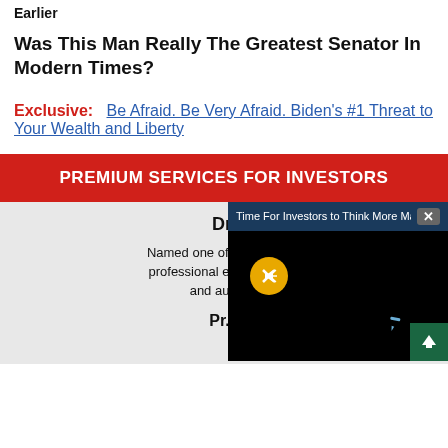Earlier
Was This Man Really The Greatest Senator In Modern Times?
Exclusive:  Be Afraid. Be Very Afraid. Biden's #1 Threat to Your Wealth and Liberty
PREMIUM SERVICES FOR INVESTORS
Dr.
Named one of the "Top 2... professional economist, ... and autho...
Pr...
[Figure (screenshot): Video popup overlay with title 'Time For Investors to Think More Macr...' on dark blue header with close button X, black video body with yellow mute button, blue pencil icon, and green scroll-up arrow button]